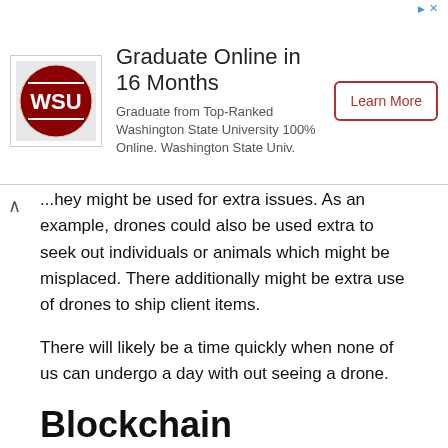[Figure (other): Advertisement banner: WSU logo with text 'Graduate Online in 16 Months', 'Graduate from Top-Ranked Washington State University 100% Online. Washington State Univ.' and a 'Learn More' button]
...hey might be used for extra issues. As an example, drones could also be used extra to seek out individuals or animals which might be misplaced. There additionally might be extra use of drones to ship client items.
There will likely be a time quickly when none of us can undergo a day with out seeing a drone.
Blockchain
Many people solely take into consideration blockchain know-how when it comes to cryptocurrencies reminiscent of Ethereum and Bitcoin. Nevertheless, blockchain gives many forms of safety which might be useful in different areas.